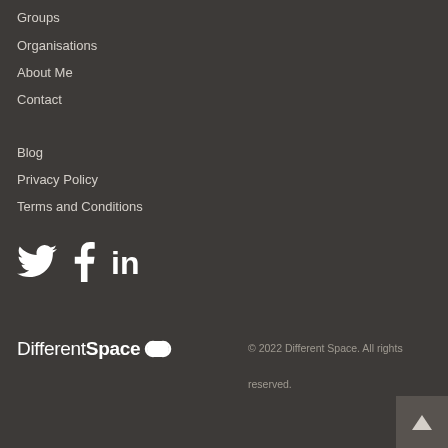Groups
Organisations
About Me
Contact
Blog
Privacy Policy
Terms and Conditions
[Figure (infographic): Social media icons: Twitter bird, Facebook f, LinkedIn in]
[Figure (logo): DifferentSpace logo with infinity-like icon]
© 2022 Different Space. All rights reserved.